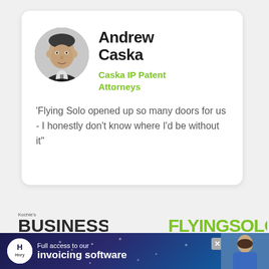[Figure (photo): Circular black-and-white headshot photo of Andrew Caska, a man in a suit and tie]
Andrew Caska
Caska IP Patent Attorneys
'Flying Solo opened up so many doors for us - I honestly don't know where I'd be without it"
[Figure (logo): Kochie's Business Builders logo]
[Figure (logo): Flying Solo logo]
[Figure (screenshot): Advertisement banner: Full access to our invoicing software, with Hnry logo and woman photo]